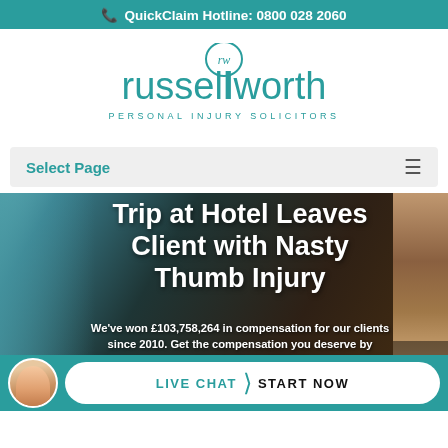QuickClaim Hotline: 0800 028 2060
[Figure (logo): Russell Worth Personal Injury Solicitors logo with teal circular rw monogram and text]
Select Page
Trip at Hotel Leaves Client with Nasty Thumb Injury
We've won £103,758,264 in compensation for our clients since 2010. Get the compensation you deserve by speaking to Russell Worth
[Figure (infographic): Live Chat Start Now call-to-action button with female agent avatar on teal background]